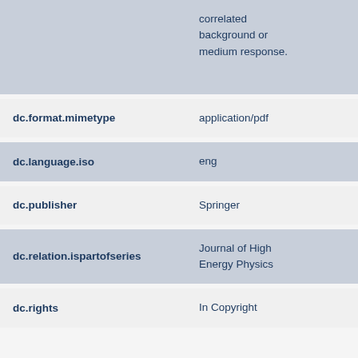| Field | Value |  |
| --- | --- | --- |
|  | correlated background or medium response. |  |
| dc.format.mimetype | application/pdf |  |
| dc.language.iso | eng |  |
| dc.publisher | Springer |  |
| dc.relation.ispartofseries | Journal of High Energy Physics |  |
| dc.rights | In Copyright |  |